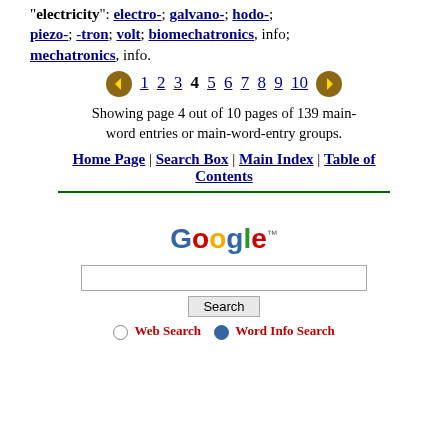"electricity": electro-; galvano-; hodo-; piezo-; -tron; volt; biomechatronics, info; mechatronics, info.
← 1 2 3 4 5 6 7 8 9 10 →
Showing page 4 out of 10 pages of 139 main-word entries or main-word-entry groups.
Home Page | Search Box | Main Index | Table of Contents
[Figure (screenshot): Google search box with Search button and radio buttons for Web Search and Word Info Search]
Web Search   Word Info Search